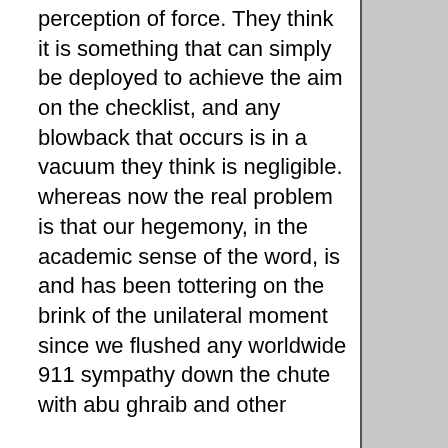perception of force. They think it is something that can simply be deployed to achieve the aim on the checklist, and any blowback that occurs is in a vacuum they think is negligible. whereas now the real problem is that our hegemony, in the academic sense of the word, is and has been tottering on the brink of the unilateral moment since we flushed any worldwide 911 sympathy down the chute with abu ghraib and other